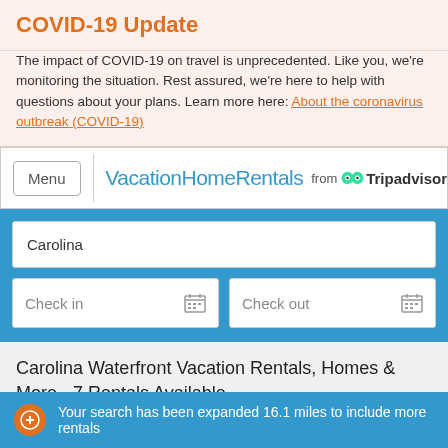COVID-19 Update
The impact of COVID-19 on travel is unprecedented. Like you, we're monitoring the situation. Rest assured, we're here to help with questions about your plans. Learn more here: About the coronavirus outbreak (COVID-19)
[Figure (logo): VacationHomeRentals from Tripadvisor navigation bar with Menu button]
Carolina
Check in
Check out
Carolina Waterfront Vacation Rentals, Homes & More - 7 Rentals Available.
Filter
Filters applied: Waterfront ×
Your search has been expanded 16.1 miles to include more rentals